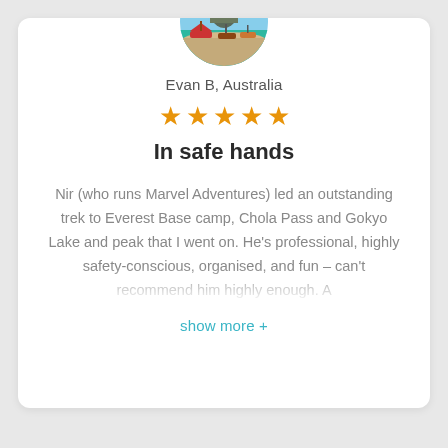[Figure (photo): Circular avatar photo showing Thai boats on a turquoise beach with rocky cliffs in the background]
Evan B, Australia
[Figure (other): Five orange star rating icons]
In safe hands
Nir (who runs Marvel Adventures) led an outstanding trek to Everest Base camp, Chola Pass and Gokyo Lake and peak that I went on. He's professional, highly safety-conscious, organised, and fun – can't recommend him highly enough. A
show more +